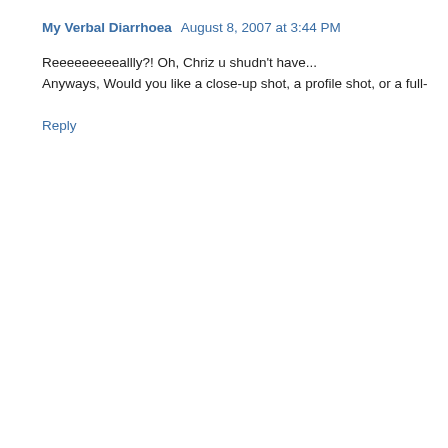My Verbal Diarrhoea  August 8, 2007 at 3:44 PM
Reeeeeeeeeallly?! Oh, Chriz u shudn't have...
Anyways, Would you like a close-up shot, a profile shot, or a full-
Reply
Did you smile? Do let me know about your views of this post. Please rea
Newer Post
Home
Subscribe to: Post C